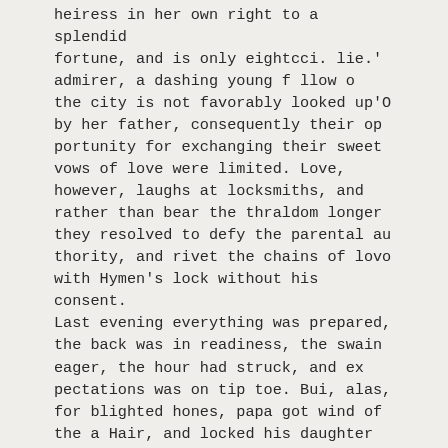heiress in her own right to a splendid fortune, and is only eightcci. lie.' admirer, a dashing young f llow o the city is not favorably looked up'O by her father, consequently their op portunity for exchanging their sweet vows of love were limited. Love, however, laughs at locksmiths, and rather than bear the thraldom longer they resolved to defy the parental au thority, and rivet the chains of lovo with Hymen's lock without his consent. Last evening everything was prepared, the back was in readiness, the swain eager, the hour had struck, and ex pectations was on tip toe. Bui, alas, for blighted hones, papa got wind of the a Hair, and locked his daughter up, and prevailed upon the housemaid to take her place. Biddy was in no ways loth, so wrapping her shawl about her form and covering her face well up, for Luna shone bright upon the scene,she tripped nimbly into tho street. A soft and whispered hush greeted young